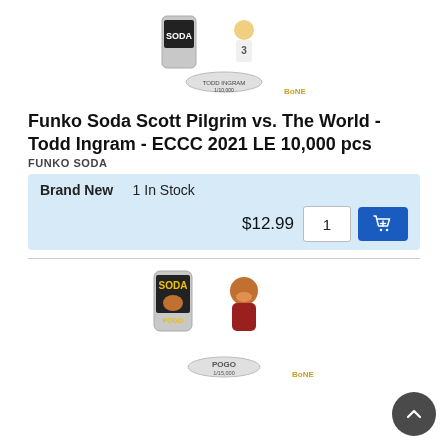[Figure (photo): Photo of Funko Soda Todd Ingram figure and can product]
Funko Soda Scott Pilgrim vs. The World - Todd Ingram - ECCC 2021 LE 10,000 pcs
FUNKO SODA
Brand New    1 In Stock
$12.99   1   [Add to Cart]
[Figure (photo): Photo of Funko Soda Pogo figure and can product]